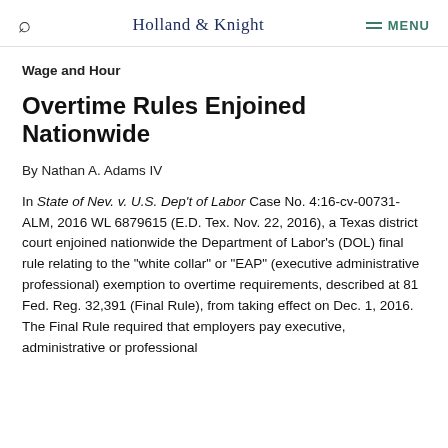Holland & Knight
Wage and Hour
Overtime Rules Enjoined Nationwide
By Nathan A. Adams IV
In State of Nev. v. U.S. Dep't of Labor Case No. 4:16-cv-00731-ALM, 2016 WL 6879615 (E.D. Tex. Nov. 22, 2016), a Texas district court enjoined nationwide the Department of Labor's (DOL) final rule relating to the "white collar" or "EAP" (executive administrative professional) exemption to overtime requirements, described at 81 Fed. Reg. 32,391 (Final Rule), from taking effect on Dec. 1, 2016. The Final Rule required that employers pay executive, administrative or professional